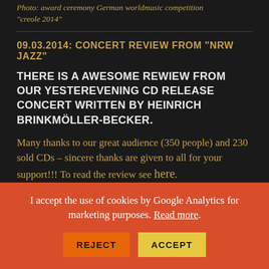Photo: award ceremony German worldmusic competition "creole 2014"
09.03.2014: CONCERT REVIEW FROM "NRW JAZZ"
THERE IS A AWESOME REWIEW FROM OUR YESTEREVENING CD RELEASE CONCERT WRITTEN BY HEINRICH BRINKMÖLLER-BECKER.
Many thanks to our great audience (350 people) and 230 sold CDs – sincere thanks are given to all for your support!!! To read the review see here.
I accept the use of cookies by Google Analytics for marketing purposes. Read more.
REJECT
ACCEPT